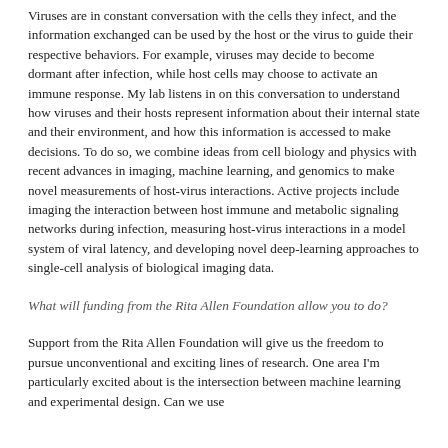Viruses are in constant conversation with the cells they infect, and the information exchanged can be used by the host or the virus to guide their respective behaviors. For example, viruses may decide to become dormant after infection, while host cells may choose to activate an immune response. My lab listens in on this conversation to understand how viruses and their hosts represent information about their internal state and their environment, and how this information is accessed to make decisions. To do so, we combine ideas from cell biology and physics with recent advances in imaging, machine learning, and genomics to make novel measurements of host-virus interactions. Active projects include imaging the interaction between host immune and metabolic signaling networks during infection, measuring host-virus interactions in a model system of viral latency, and developing novel deep-learning approaches to single-cell analysis of biological imaging data.
What will funding from the Rita Allen Foundation allow you to do?
Support from the Rita Allen Foundation will give us the freedom to pursue unconventional and exciting lines of research. One area I'm particularly excited about is the intersection between machine learning and experimental design. Can we use